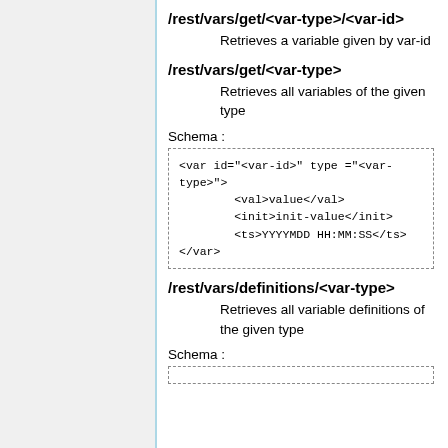/rest/vars/get/<var-type>/<var-id>
Retrieves a variable given by var-id
/rest/vars/get/<var-type>
Retrieves all variables of the given type
Schema :
<var id="<var-id>" type ="<var-type>">
        <val>value</val>
        <init>init-value</init>
        <ts>YYYYMDD HH:MM:SS</ts>
</var>
/rest/vars/definitions/<var-type>
Retrieves all variable definitions of the given type
Schema :